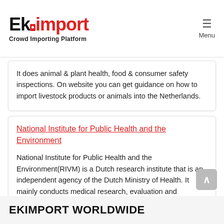[Figure (logo): Ekimport logo with red 'import' text and tagline 'Crowd Importing Platform']
It does animal & plant health, food & consumer safety inspections. On website you can get guidance on how to import livestock products or animals into the Netherlands.
National Institute for Public Health and the Environment
National Institute for Public Health and the Environment(RIVM) is a Dutch research institute that is an independent agency of the Dutch Ministry of Health. It mainly conducts medical research, evaluation and investigation of medical devices.
EKIMPORT WORLDWIDE